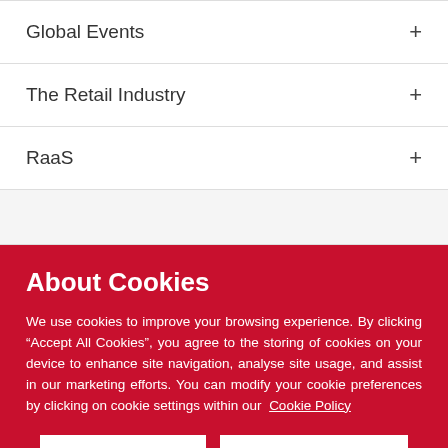Global Events +
The Retail Industry +
RaaS +
About Cookies
We use cookies to improve your browsing experience. By clicking “Accept All Cookies”, you agree to the storing of cookies on your device to enhance site navigation, analyse site usage, and assist in our marketing efforts. You can modify your cookie preferences by clicking on cookie settings within our Cookie Policy
Cookie Settings | Accept All Cookies